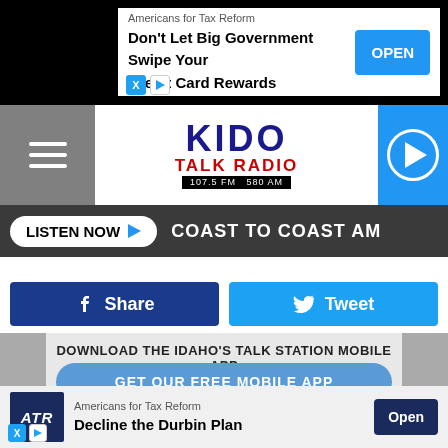[Figure (screenshot): Top advertisement banner: Americans for Tax Reform - Don't Let Big Government Swipe Your Credit Card Rewards with OPEN button]
[Figure (logo): KIDO Talk Radio 107.5 FM 580 AM logo with navigation hamburger menu and play button]
LISTEN NOW  COAST TO COAST AM
[Figure (screenshot): Facebook Share button and Twitter Tweet button]
DOWNLOAD THE IDAHO'S TALK STATION MOBILE APP
GET OUR FREE MOBILE APP
Also listen on:  amazon alexa
[Figure (screenshot): Bottom advertisement: Americans for Tax Reform - Decline the Durbin Plan with Open button]